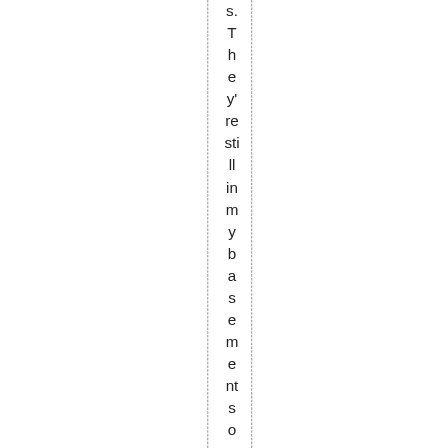s. They're still in my basements somewhere in so